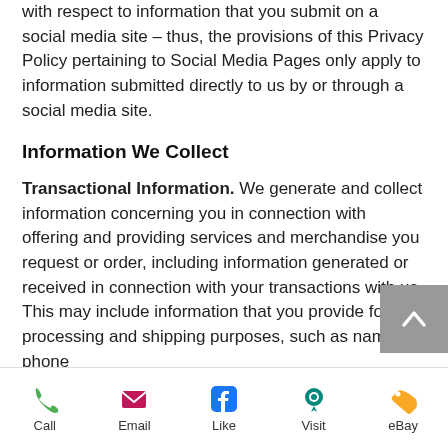with respect to information that you submit on a social media site – thus, the provisions of this Privacy Policy pertaining to Social Media Pages only apply to information submitted directly to us by or through a social media site.
Information We Collect
Transactional Information. We generate and collect information concerning you in connection with offering and providing services and merchandise you request or order, including information generated or received in connection with your transactions with us. This may include information that you provide for processing and shipping purposes, such as name, phone
Call | Email | Like | Visit | eBay